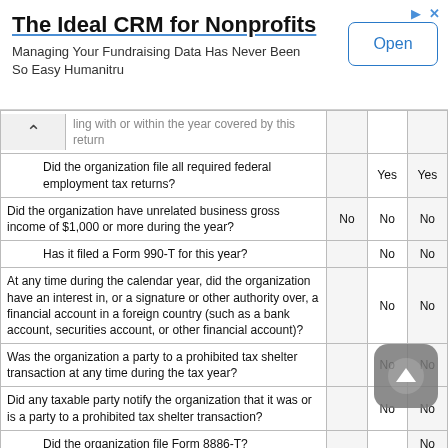[Figure (other): Ad banner: The Ideal CRM for Nonprofits - Managing Your Fundraising Data Has Never Been So Easy Humanitru, with an Open button]
| Question |  |  |  |
| --- | --- | --- | --- |
| ling with or within the year covered by this return |  |  |  |
| Did the organization file all required federal employment tax returns? |  | Yes | Yes |
| Did the organization have unrelated business gross income of $1,000 or more during the year? | No | No | No |
| Has it filed a Form 990-T for this year? |  | No | No |
| At any time during the calendar year, did the organization have an interest in, or a signature or other authority over, a financial account in a foreign country (such as a bank account, securities account, or other financial account)? |  | No | No |
| Was the organization a party to a prohibited tax shelter transaction at any time during the tax year? |  | No | No |
| Did any taxable party notify the organization that it was or is a party to a prohibited tax shelter transaction? |  | No | No |
| Did the organization file Form 8886-T? |  |  | No |
| Does the organization have annual gross receipts that are normally greater than $100,000, and did the organization |  |  |  |